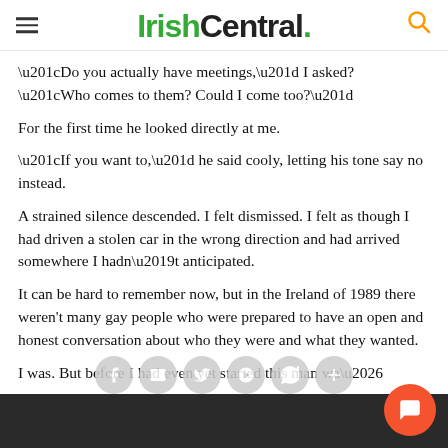IrishCentral.
“Do you actually have meetings,” I asked? “Who comes to them? Could I come too?”
For the first time he looked directly at me.
“If you want to,” he said cooly, letting his tone say no instead.
A strained silence descended. I felt dismissed. I felt as though I had driven a stolen car in the wrong direction and had arrived somewhere I hadn’t anticipated.
It can be hard to remember now, but in the Ireland of 1989 there weren’t many gay people who were prepared to have an open and honest conversation about who they were and what they wanted.
I was. But before I had even yet started this man wa…